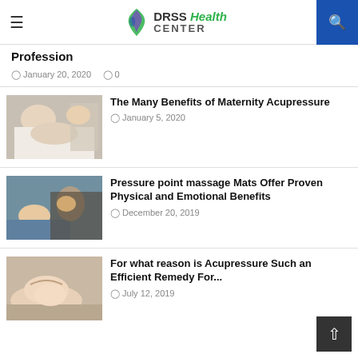DRSS Health CENTER
Profession
January 20, 2020  0
[Figure (photo): Person receiving massage or acupressure treatment]
The Many Benefits of Maternity Acupressure
January 5, 2020
[Figure (photo): Person receiving head/neck massage treatment]
Pressure point massage Mats Offer Proven Physical and Emotional Benefits
December 20, 2019
[Figure (photo): Woman receiving facial acupressure treatment]
For what reason is Acupressure Such an Efficient Remedy For...
July 12, 2019